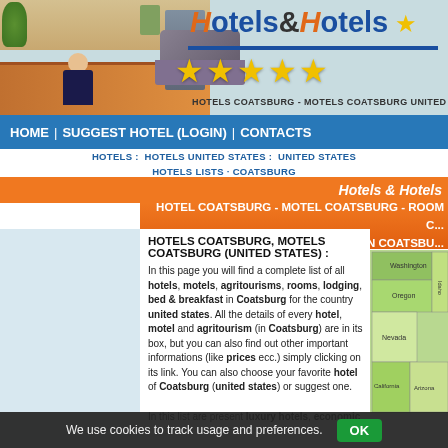[Figure (screenshot): Hotels & Hotels website header with hotel reception photo, star ratings, and site logo]
HOME | SUGGEST HOTEL (LOGIN) | CONTACTS
HOTELS : HOTELS UNITED STATES : UNITED STATES HOTELS LISTS · COATSBURG
Hotels & Hotels
HOTEL COATSBURG - MOTEL COATSBURG - ROOM C... LISTING IN COATSBU...
HOTELS COATSBURG, MOTELS COATSBURG (UNITED STATES) :

In this page you will find a complete list of all hotels, motels, agritourisms, rooms, lodging, bed & breakfast in Coatsburg for the country united states. All the details of every hotel, motel and agritourism (in Coatsburg) are in its box, but you can also find out other important informations (like prices ecc.) simply clicking on its link. You can also choose your favorite hotel of Coatsburg (united states) or suggest one. In this list are present luxury hotels, economic hotels and chea...
[Figure (map): Map of western United States states]
We use cookies to track usage and preferences.  OK